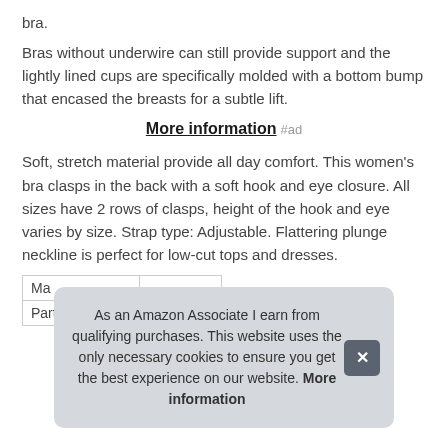bra.
Bras without underwire can still provide support and the lightly lined cups are specifically molded with a bottom bump that encased the breasts for a subtle lift.
More information #ad
Soft, stretch material provide all day comfort. This women's bra clasps in the back with a soft hook and eye closure. All sizes have 2 rows of clasps, height of the hook and eye varies by size. Strap type: Adjustable. Flattering plunge neckline is perfect for low-cut tops and dresses.
| Ma |  |
| Part Number | SA1375 |
As an Amazon Associate I earn from qualifying purchases. This website uses the only necessary cookies to ensure you get the best experience on our website. More information